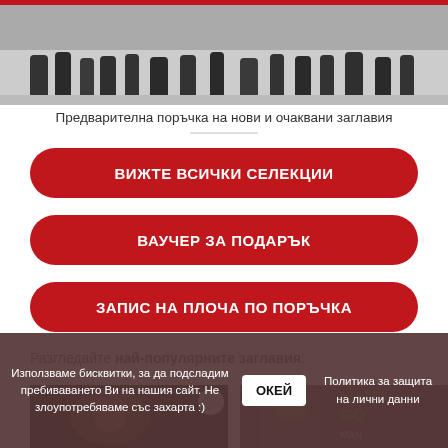[Figure (photo): Black and white photo showing people's legs/lower bodies, appears to be a historical or artistic photograph]
Предварителна поръчка на нови и очаквани заглавия
ВИЖТЕ ВСИЧКИ СЕЛЕКЦИИ
ВАУЧЕР ЗА ПОДАРЪК
ЗАПИС НА ПЛОЧА ПО ПОРЪЧКА
Разгледайте най-популярните заглавия:
[Figure (photo): Dark thumbnail image of a person's face]
[Figure (photo): Thumbnail image with MANGO text overlay in green]
Използваме бисквитки, за да подсладим пребиваването Ви на нашия сайт. Не злоупотребяваме със захарта :)
ОКЕЙ
Политика за защита на лични данни